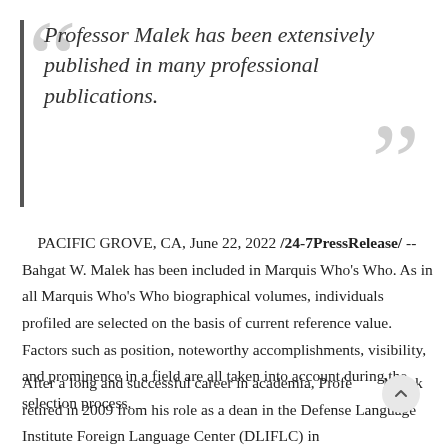Professor Malek has been extensively published in many professional publications.
PACIFIC GROVE, CA, June 22, 2022 /24-7PressRelease/ -- Bahgat W. Malek has been included in Marquis Who's Who. As in all Marquis Who's Who biographical volumes, individuals profiled are selected on the basis of current reference value. Factors such as position, noteworthy accomplishments, visibility, and prominence in a field are all taken into account during the selection process.
After a long and successful career in academia, Professor Malek retired in 2009 from his role as a dean in the Defense Language Institute Foreign Language Center (DLIFLC) in